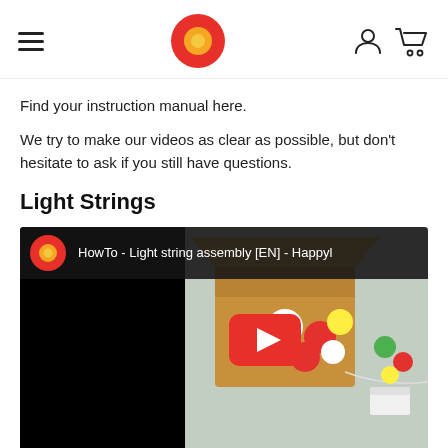HappyL — navigation header with hamburger menu, logo, user icon, and cart icon
Find your instruction manual here.
We try to make our videos as clear as possible, but don't hesitate to ask if you still have questions.
Light Strings
[Figure (screenshot): YouTube video thumbnail: HowTo - Light string assembly [EN] - HappyL, showing a cardboard box with colorful light string balls and a red YouTube play button overlay.]